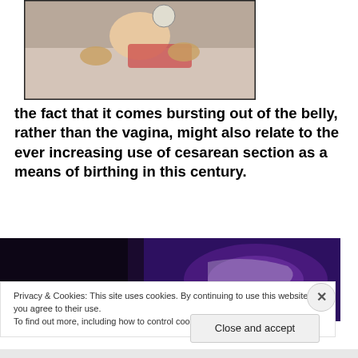[Figure (photo): A medical scene showing a cesarean section procedure being performed, with a patient and surgical team visible.]
the fact that it comes bursting out of the belly, rather than the vagina, might also relate to the ever increasing use of cesarean section as a means of birthing in this century.
[Figure (photo): A dark image with purple tones showing a blurred birth or medical scene.]
Privacy & Cookies: This site uses cookies. By continuing to use this website, you agree to their use.
To find out more, including how to control cookies, see here: Cookie Policy
Close and accept